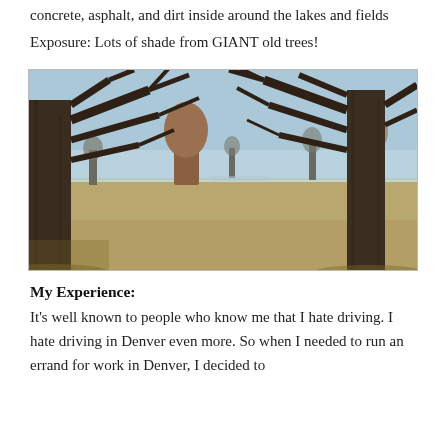concrete, asphalt, and dirt inside around the lakes and fields
Exposure: Lots of shade from GIANT old trees!
[Figure (photo): Outdoor park scene in winter with large bare deciduous trees in the foreground, open grassy field with dry brown grass, and a pale blue sky. Trees cast shadows on the ground.]
My Experience:
It's well known to people who know me that I hate driving. I hate driving in Denver even more. So when I needed to run an errand for work in Denver, I decided to